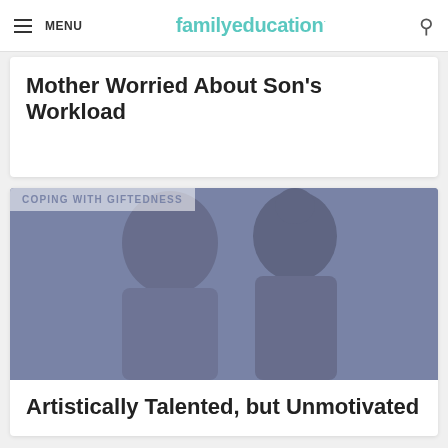MENU | familyeducation
Mother Worried About Son’s Workload
COPING WITH GIFTEDNESS
[Figure (photo): Two people (mother and child) looking down, muted blue-purple toned photo]
Artistically Talented, but Unmotivated